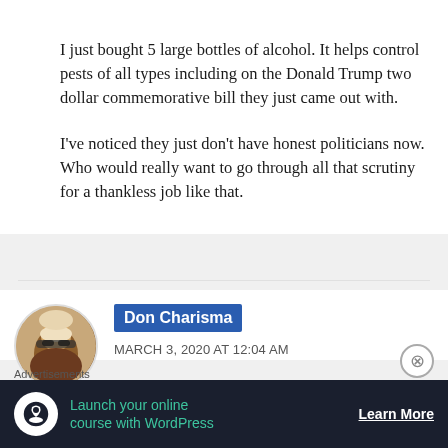[Figure (photo): Partial circular avatar image at top left, mostly cropped]
I just bought 5 large bottles of alcohol. It helps control pests of all types including on the Donald Trump two dollar commemorative bill they just came out with.

I've noticed they just don't have honest politicians now. Who would really want to go through all that scrutiny for a thankless job like that.
[Figure (photo): Circular avatar photo of Don Charisma — person wearing sunglasses, warm brown tones]
Don Charisma
MARCH 3, 2020 AT 12:04 AM
Advertisements
[Figure (other): Advertisement banner: dark background with tree/person icon, text 'Launch your online course with WordPress', Learn More button]